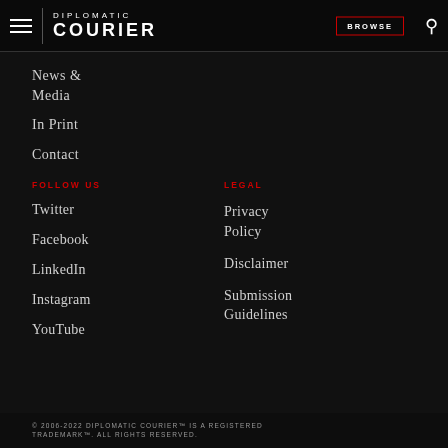DIPLOMATIC COURIER | BROWSE
News & Media
In Print
Contact
FOLLOW US
LEGAL
Twitter
Privacy Policy
Facebook
Disclaimer
LinkedIn
Submission Guidelines
Instagram
YouTube
© 2006-2022 DIPLOMATIC COURIER™ IS A REGISTERED TRADEMARK™. ALL RIGHTS RESERVED.